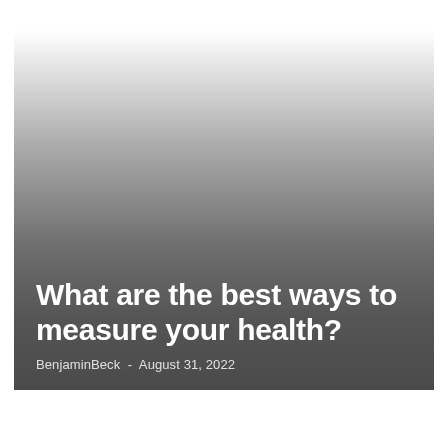[Figure (photo): Hero image with gradient background fading from white at top to dark gray at bottom, with article title and byline overlaid at the bottom]
What are the best ways to measure your health?
BenjaminBeck  -  August 31, 2022